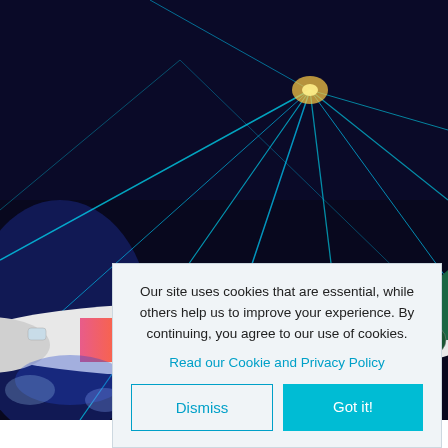[Figure (photo): Brussels Airlines Tomorrowland aircraft with colorful artistic livery illuminated by cyan laser beams in a dark hangar. The fuselage features vibrant psychedelic artwork with a Tomorrowland logo. Text 'brussels airlines – we fly you...' visible on the fuselage.]
Our site uses cookies that are essential, while others help us to improve your experience. By continuing, you agree to our use of cookies.
Read our Cookie and Privacy Policy
Dismiss
Got it!